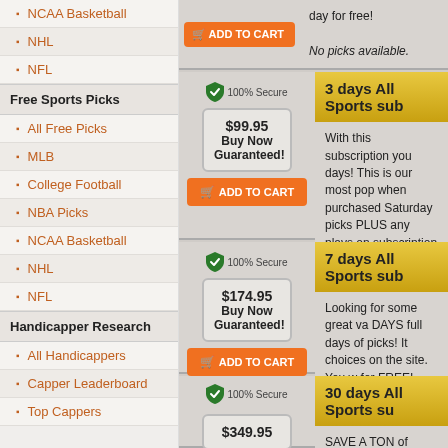NCAA Basketball
NHL
NFL
Free Sports Picks
All Free Picks
MLB
College Football
NBA Picks
NCAA Basketball
NHL
NFL
Handicapper Research
All Handicappers
Capper Leaderboard
Top Cappers
day for free!
No picks available.
3 days All Sports sub
$99.95 Buy Now Guaranteed!
With this subscription you days! This is our most pop when purchased Saturday picks PLUS any plays on subscription is guaranteed absolutely FREE!
No picks available.
7 days All Sports sub
$174.95 Buy Now Guaranteed!
Looking for some great va DAYS full days of picks! It choices on the site. You w for FREE!
No picks available.
30 days All Sports su
$349.95
SAVE A TON of money wi